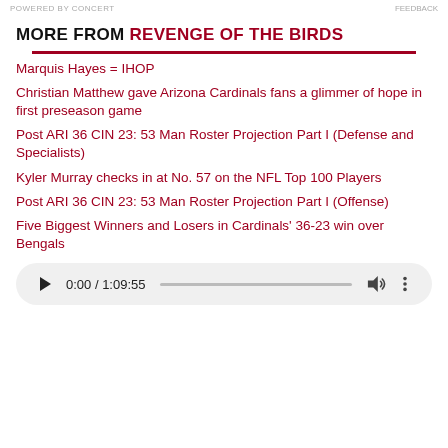POWERED BY CONCERT | FEEDBACK
MORE FROM REVENGE OF THE BIRDS
Marquis Hayes = IHOP
Christian Matthew gave Arizona Cardinals fans a glimmer of hope in first preseason game
Post ARI 36 CIN 23: 53 Man Roster Projection Part I (Defense and Specialists)
Kyler Murray checks in at No. 57 on the NFL Top 100 Players
Post ARI 36 CIN 23: 53 Man Roster Projection Part I (Offense)
Five Biggest Winners and Losers in Cardinals' 36-23 win over Bengals
[Figure (other): Audio player showing 0:00 / 1:09:55 with play button, progress bar, volume and more options]